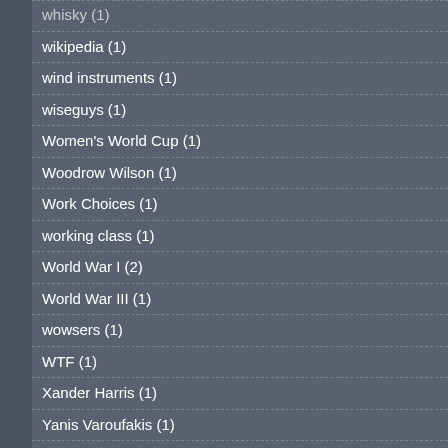whisky (1)
wikipedia (1)
wind instruments (1)
wiseguys (1)
Women's World Cup (1)
Woodrow Wilson (1)
Work Choices (1)
working class (1)
World War I (2)
World War III (1)
wowsers (1)
WTF (1)
Xander Harris (1)
Yanis Varoufakis (1)
yes vote (1)
Zaky Mallah (1)
Zionist dogs (1)